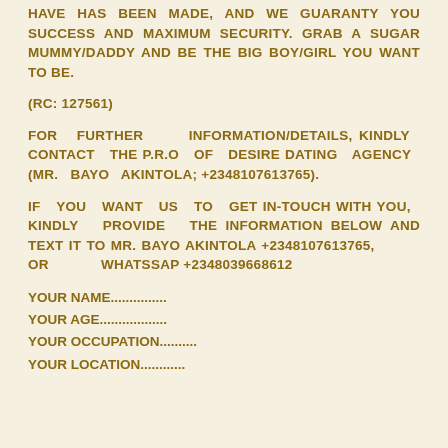HAVE HAS BEEN MADE, AND WE GUARANTY YOU SUCCESS AND MAXIMUM SECURITY. GRAB A SUGAR MUMMY/DADDY AND BE THE BIG BOY/GIRL YOU WANT TO BE.
(RC: 127561)
FOR FURTHER INFORMATION/DETAILS, KINDLY CONTACT THE P.R.O OF DESIRE DATING AGENCY (MR. BAYO AKINTOLA; +2348107613765).
IF YOU WANT US TO GET IN-TOUCH WITH YOU, KINDLY PROVIDE THE INFORMATION BELOW AND TEXT IT TO MR. BAYO AKINTOLA +2348107613765, OR WHATSSAP +2348039668612
YOUR NAME...............
YOUR AGE..................
YOUR OCCUPATION..........
YOUR LOCATION............